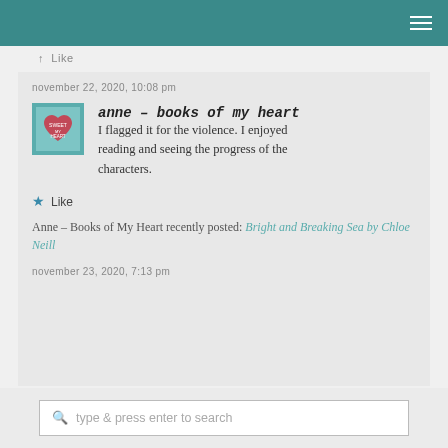↑ Like
november 22, 2020, 10:08 pm
anne – books of my heart
I flagged it for the violence. I enjoyed reading and seeing the progress of the characters.
★ Like
Anne – Books of My Heart recently posted: Bright and Breaking Sea by Chloe Neill
november 23, 2020, 7:13 pm
type & press enter to search